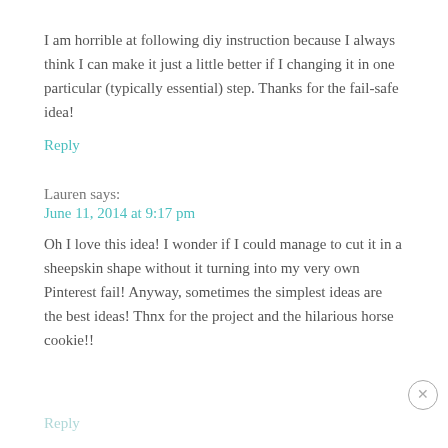I am horrible at following diy instruction because I always think I can make it just a little better if I changing it in one particular (typically essential) step. Thanks for the fail-safe idea!
Reply
Lauren says:
June 11, 2014 at 9:17 pm
Oh I love this idea! I wonder if I could manage to cut it in a sheepskin shape without it turning into my very own Pinterest fail! Anyway, sometimes the simplest ideas are the best ideas! Thnx for the project and the hilarious horse cookie!!
Reply